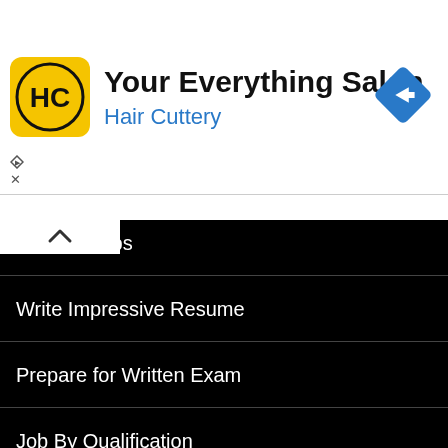[Figure (screenshot): Hair Cuttery advertisement banner with yellow logo showing HC letters in a circle, title 'Your Everything Salon', subtitle 'Hair Cuttery' in blue, and a blue diamond navigation arrow icon on the right.]
Interview tips
Write Impressive Resume
Prepare for Written Exam
Job By Qualification
Job By Category
About
Disclaimer
Privacy Policy